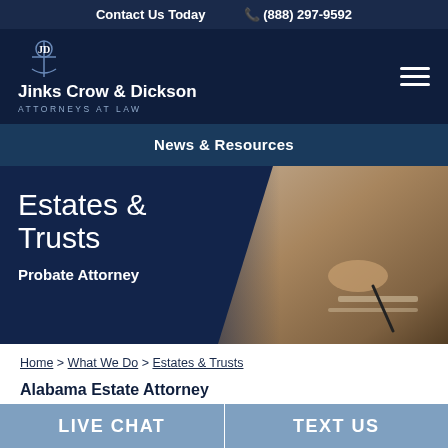Contact Us Today  (888) 297-9592
[Figure (logo): Jinks Crow & Dickson Attorneys at Law logo with anchor emblem]
News & Resources
[Figure (photo): Hero banner showing Estates & Trusts - Probate Attorney with background photo of person signing legal documents]
Home > What We Do > Estates & Trusts
Alabama Estate Attorney
LIVE CHAT  TEXT US